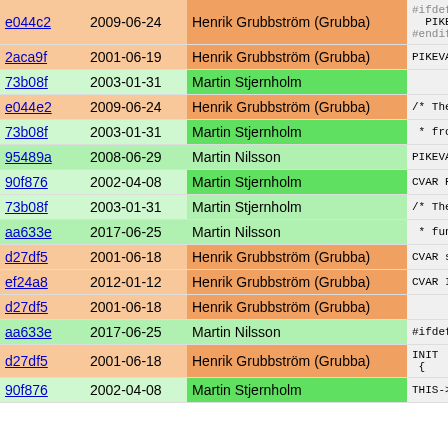| Hash | Date | Author | Code |
| --- | --- | --- | --- |
| e044e2 | 2009-06-24 | Henrik Grubbström (Grubba) | #ifdef PIKE_
  PIKEVAR p
#endif |
| 2aca9f | 2001-06-19 | Henrik Grubbström (Grubba) | PIKEVAR a |
| 73b08f | 2003-01-31 | Martin Stjernholm |  |
| e044e2 | 2009-06-24 | Henrik Grubbström (Grubba) | /* These a |
| 73b08f | 2003-01-31 | Martin Stjernholm | * from th |
| 95489a | 2008-06-29 | Martin Nilsson | PIKEVAR p |
| 90f876 | 2002-04-08 | Martin Stjernholm | CVAR PIKE_ |
| 73b08f | 2003-01-31 | Martin Stjernholm | /* These f |
| aa633e | 2017-06-25 | Martin Nilsson | * fun as |
| d27df5 | 2001-06-18 | Henrik Grubbström (Grubba) | CVAR stru |
| ef24a8 | 2012-01-12 | Henrik Grubbström (Grubba) | CVAR INT_ |
| d27df5 | 2001-06-18 | Henrik Grubbström (Grubba) |  |
| aa633e | 2017-06-25 | Martin Nilsson | #ifdef PIKE_ |
| d27df5 | 2001-06-18 | Henrik Grubbström (Grubba) | INIT
{ |
| 90f876 | 2002-04-08 | Martin Stjernholm | THIS->po |